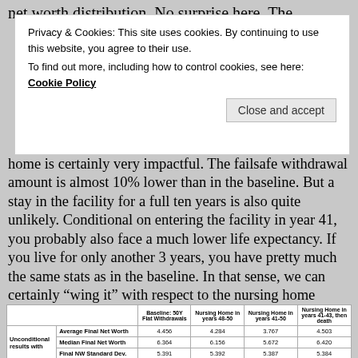net worth distribution. No surprise here. The
Privacy & Cookies: This site uses cookies. By continuing to use this website, you agree to their use. To find out more, including how to control cookies, see here: Cookie Policy
home is certainly very impactful. The failsafe withdrawal amount is almost 10% lower than in the baseline. But a stay in the facility for a full ten years is also quite unlikely. Conditional on entering the facility in year 41, you probably also face a much lower life expectancy. If you live for only another 3 years, you have pretty much the same stats as in the baseline. In that sense, we can certainly “wing it” with respect to the nursing home expense risk.
|  |  | Baseline: 50Y Flat Withdrawals | Nursing Home in years 48-50 | Nursing Home in years 41-50 | Nursing Home in years 41-43, then death |
| --- | --- | --- | --- | --- | --- |
| Unconditional results with | Average Final Net Worth | 4.456 | 4.284 | 3.767 | 4.503 |
|  | Median Final Net Worth | 6.364 | 6.156 | 5.672 | 6.420 |
|  | Final NW Standard Dev. | 5.391 | 5.392 | 5.387 | 5.384 |